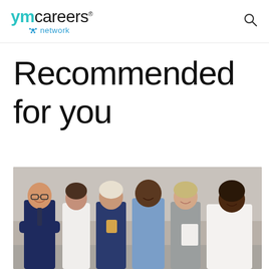ymcareers network
Recommended for you
[Figure (photo): Group of six diverse professionals standing together smiling — three women and three men, wearing business and smart casual attire, one holding a coffee cup, one holding papers]